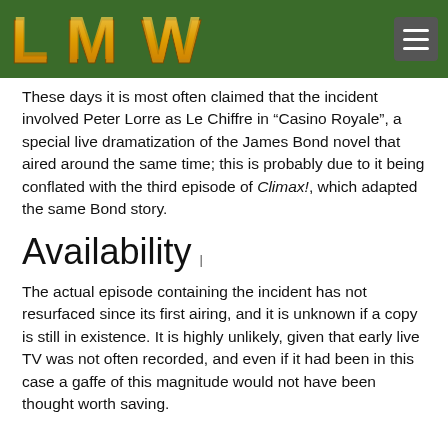LMW logo and navigation menu
These days it is most often claimed that the incident involved Peter Lorre as Le Chiffre in “Casino Royale”, a special live dramatization of the James Bond novel that aired around the same time; this is probably due to it being conflated with the third episode of Climax!, which adapted the same Bond story.
Availability
The actual episode containing the incident has not resurfaced since its first airing, and it is unknown if a copy is still in existence. It is highly unlikely, given that early live TV was not often recorded, and even if it had been in this case a gaffe of this magnitude would not have been thought worth saving.